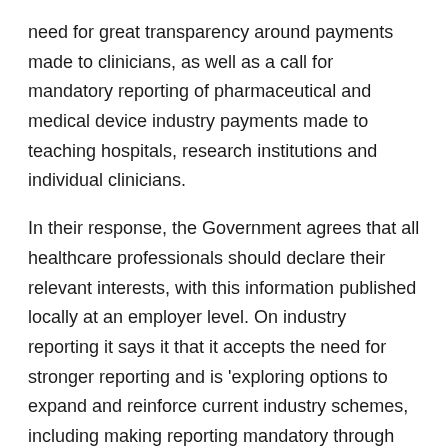need for great transparency around payments made to clinicians, as well as a call for mandatory reporting of pharmaceutical and medical device industry payments made to teaching hospitals, research institutions and individual clinicians.
In their response, the Government agrees that all healthcare professionals should declare their relevant interests, with this information published locally at an employer level. On industry reporting it says it that it accepts the need for stronger reporting and is 'exploring options to expand and reinforce current industry schemes, including making reporting mandatory through legislation'.[20] However there are